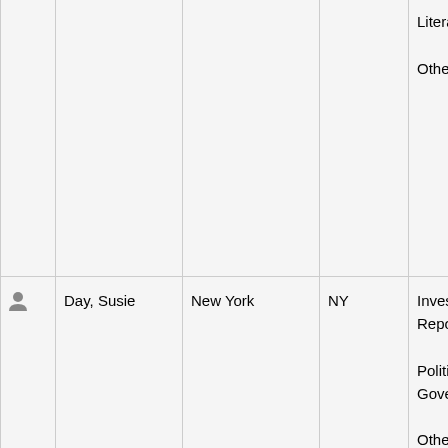|  | Name | City | State | Topics | Extra |
| --- | --- | --- | --- | --- | --- |
|  |  |  |  | Literature, Other | Cop
Fea
Gho
Soc
Writ
Writ |
| 👤 | Day, Susie | New York | NY | Investigative Reporting, Politics and Government, Other |  |
| 👤 | Delehaye, Vincenzo | Napoli | NA | Biography, Business, Consumer Goods, Environment, | Aca
and
Blo
Writ
Writ |